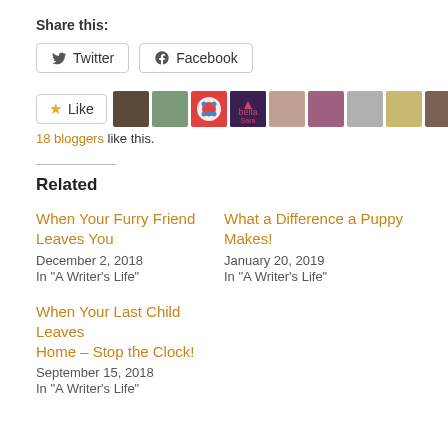Share this:
Twitter  Facebook
[Figure (other): Like button with star icon and 11 blogger avatar thumbnails]
18 bloggers like this.
Related
When Your Furry Friend Leaves You
December 2, 2018
In "A Writer's Life"
What a Difference a Puppy Makes!
January 20, 2019
In "A Writer's Life"
When Your Last Child Leaves Home – Stop the Clock!
September 15, 2018
In "A Writer's Life"